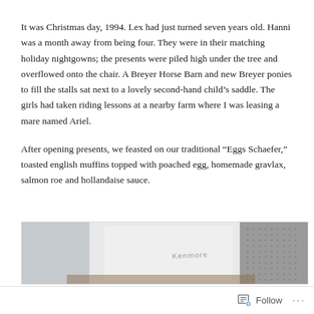It was Christmas day, 1994. Lex had just turned seven years old. Hanni was a month away from being four. They were in their matching holiday nightgowns; the presents were piled high under the tree and overflowed onto the chair. A Breyer Horse Barn and new Breyer ponies to fill the stalls sat next to a lovely second-hand child's saddle. The girls had taken riding lessons at a nearby farm where I was leasing a mare named Ariel.
After opening presents, we feasted on our traditional “Eggs Schaefer,” toasted english muffins topped with poached egg, homemade gravlax, salmon roe and hollandaise sauce.
[Figure (photo): A partially visible photograph showing what appears to be a Kenmore appliance (likely a dishwasher or washing machine), white with a dotted/textured panel on the right side, on a wooden floor.]
Follow ···